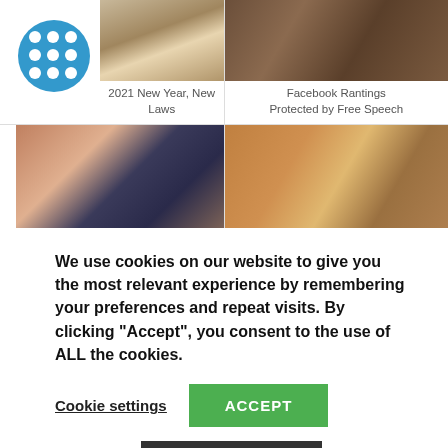[Figure (logo): Blue circle logo with 3x3 grid of white dots]
[Figure (photo): Photo of wine bottles on a table]
2021 New Year, New Laws
[Figure (photo): Photo of wooden surface texture]
Facebook Rantings Protected by Free Speech
[Figure (photo): Photo of elderly man holding fan of money bills]
[Figure (photo): Photo of two people in a dry field at sunset]
We use cookies on our website to give you the most relevant experience by remembering your preferences and repeat visits. By clicking “Accept”, you consent to the use of ALL the cookies.
Cookie settings
ACCEPT
Read More